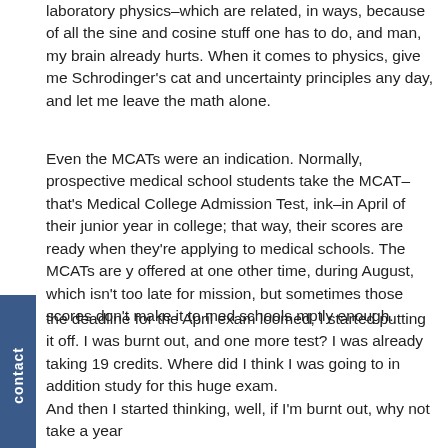laboratory physics–which are related, in ways, because of all the sine and cosine stuff one has to do, and man, my brain already hurts. When it comes to physics, give me Schrodinger's cat and uncertainty principles any day, and let me leave the math alone.
Even the MCATs were an indication. Normally, prospective medical school students take the MCAT–that's Medical College Admission Test, ink–in April of their junior year in college; that way, their scores are ready when they're applying to medical schools. The MCATs are y offered at one other time, during August, which isn't too late for mission, but sometimes those scores don't make it to med schools mptly enough.
the deadline for the April exam loomed, I started putting it off. I was burnt out, and one more test? I was already taking 19 credits. Where did I think I was going to in addition study for this huge exam.
And then I started thinking, well, if I'm burnt out, why not take a year off? I'm in New York. I could work for a year. I haven't worked–really worked–in several years. Why not take a year off, get out of school before I devote another four years to it. I figured I'd take the test in August, but then found myself figuring I could just wait until the following April, given that I was taking that year off from studies (like a sabbatical!).